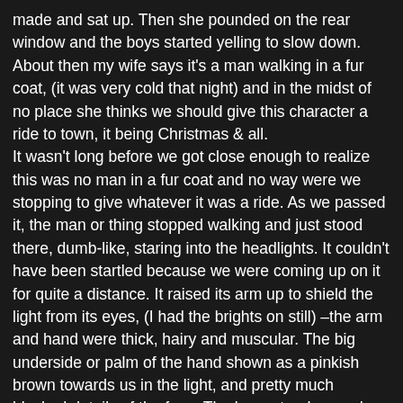made and sat up. Then she pounded on the rear window and the boys started yelling to slow down. About then my wife says it's a man walking in a fur coat, (it was very cold that night) and in the midst of no place she thinks we should give this character a ride to town, it being Christmas & all. It wasn't long before we got close enough to realize this was no man in a fur coat and no way were we stopping to give whatever it was a ride. As we passed it, the man or thing stopped walking and just stood there, dumb-like, staring into the headlights. It couldn't have been startled because we were coming up on it for quite a distance. It raised its arm up to shield the light from its eyes, (I had the brights on still) –the arm and hand were thick, hairy and muscular. The big underside or palm of the hand shown as a pinkish brown towards us in the light, and pretty much blocked details of the face. The boys stood up and peered over the cab of the